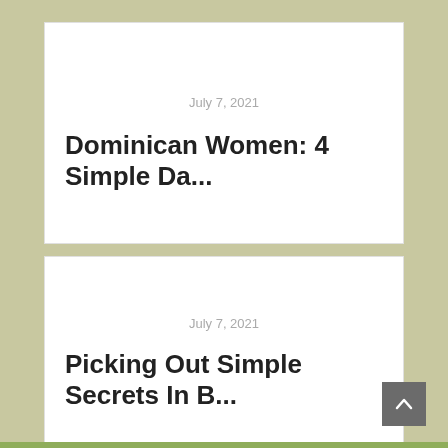July 7, 2021
Dominican Women: 4 Simple Da...
July 7, 2021
Picking Out Simple Secrets In B...